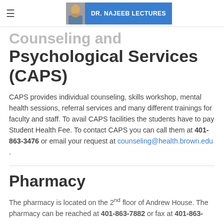DR. NAJEEB LECTURES
Counseling and Psychological Services (CAPS)
CAPS provides individual counseling, skills workshop, mental health sessions, referral services and many different trainings for faculty and staff. To avail CAPS facilities the students have to pay Student Health Fee. To contact CAPS you can call them at 401-863-3476 or email your request at counseling@health.brown.edu .
Pharmacy
The pharmacy is located on the 2nd floor of Andrew House. The pharmacy can be reached at 401-863-7882 or fax at 401-863-